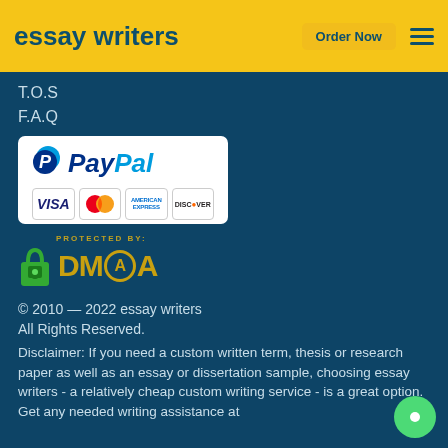essay writers | Order Now
T.O.S
F.A.Q
[Figure (logo): PayPal logo with Visa, Mastercard, American Express, and Discover card icons]
[Figure (logo): DMCA Protected By badge with green padlock icon]
© 2010 — 2022 essay writers
All Rights Reserved.
Disclaimer: If you need a custom written term, thesis or research paper as well as an essay or dissertation sample, choosing essay writers - a relatively cheap custom writing service - is a great option. Get any needed writing assistance at